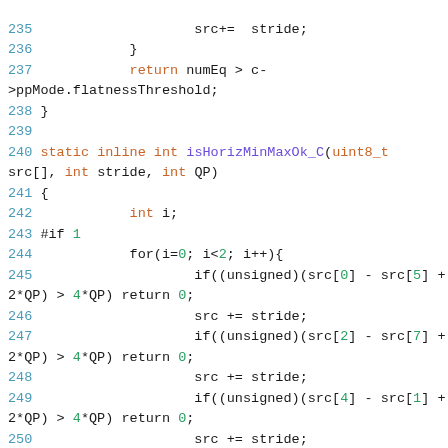Source code listing lines 235-253, C function isHorizMinMaxOk_C